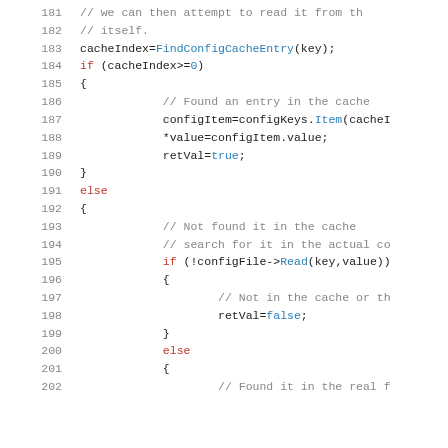[Figure (screenshot): Source code listing lines 181-202 showing C++ code with line numbers, comments, if/else blocks, and function calls including FindConfigCacheEntry, configKeys.Item, configFile->Read, with keywords highlighted in red and function names in blue.]